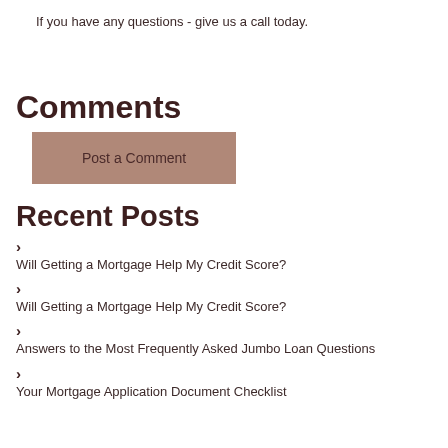If you have any questions - give us a call today.
Comments
Post a Comment
Recent Posts
Will Getting a Mortgage Help My Credit Score?
Will Getting a Mortgage Help My Credit Score?
Answers to the Most Frequently Asked Jumbo Loan Questions
Your Mortgage Application Document Checklist